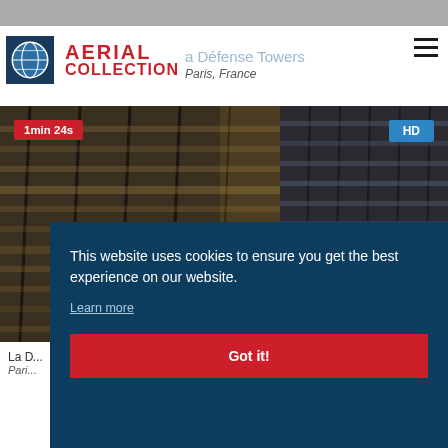[Figure (screenshot): Aerial Collection website screenshot showing logo, navigation header with 'La Défense Towers' subtitle, 'Paris, France' caption, a main video thumbnail of La Défense towers with '1min 24s' and 'HD' badges, and a cookie consent banner overlay reading 'This website uses cookies to ensure you get the best experience on our website. Learn more' with a 'Got it!' button.]
AERIAL COLLECTION
La Défense Towers
Paris, France
1min 24s
HD
This website uses cookies to ensure you get the best experience on our website.
Learn more
Got it!
La D...
Pari...